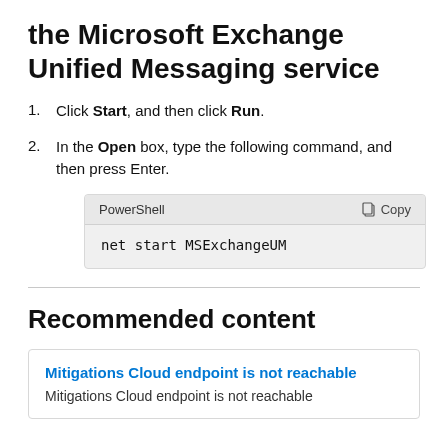the Microsoft Exchange Unified Messaging service
Click Start, and then click Run.
In the Open box, type the following command, and then press Enter.
[Figure (screenshot): PowerShell code block with header showing 'PowerShell' and 'Copy' button, containing the command: net start MSExchangeUM]
Recommended content
Mitigations Cloud endpoint is not reachable
Mitigations Cloud endpoint is not reachable